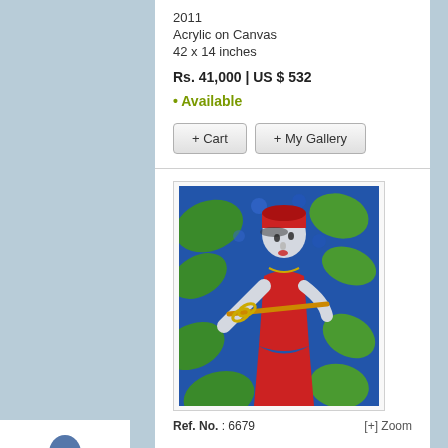2011
Acrylic on Canvas
42 x 14 inches
Rs. 41,000 | US $ 532
• Available
+ Cart   + My Gallery
[Figure (illustration): Painting of a woman in red dress and red hat playing a flute, with blue background, green leaves, and decorative style reminiscent of Indian folk art]
Ref. No. : 6679   [+] Zoom
[Figure (illustration): Blue silhouette icon of a single person/user]
[Figure (illustration): Icon showing two person silhouettes side by side, one dark and one red, representing a compare feature]
[Figure (illustration): 2x2 grid icon with circles, bottom-right circle filled red, surrounded by red border indicating active/selected state]